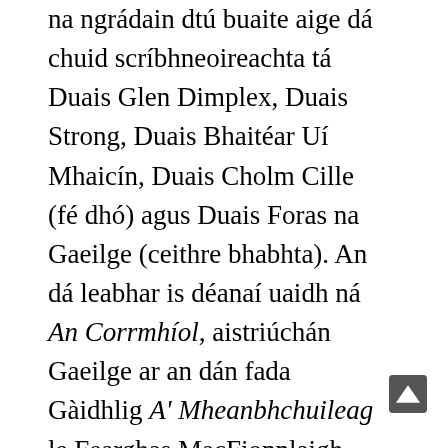na ngrádain dtú buaite aige dá chuid scríbhneoireachta tá Duais Glen Dimplex, Duais Strong, Duais Bhaitéar Uí Mhaicín, Duais Cholm Cille (fé dhó) agus Duais Foras na Gaeilge (ceithre bhabhta). An dá leabhar is déanaí uaidh ná An Corrmhíol, aistriúchán Gaeilge ar an dán fada Gàidhlig A' Mheanbhchuileag le Fearghas MacFionnlaigh foilsithe ag Coiscéim, agus An Fheadóg Fia, aistriúcháin ar dhánta an fhile Sínigh Jidi Majia. Tá sé ina stiúrthóir ar An Fhéile Bheag Filíochta, féile dhátheangach ealaíne bhliantúil ar an mBuailtín, Ciarraí.